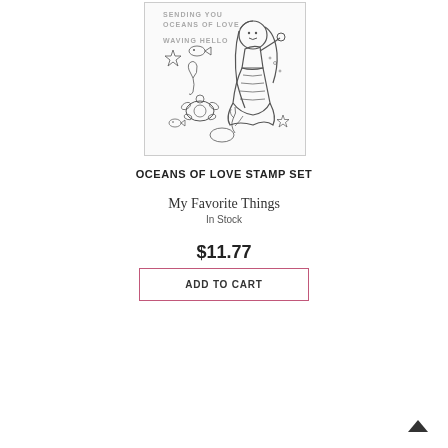[Figure (illustration): Line-art stamp set illustration showing a mermaid girl with long wavy hair, starfish, sea turtle, fish, seaweed, and text stamps reading 'SENDING YOU OCEANS OF LOVE' and 'WAVING HELLO', all in a simple outlined coloring-book style.]
OCEANS OF LOVE STAMP SET
My Favorite Things
In Stock
$11.77
ADD TO CART